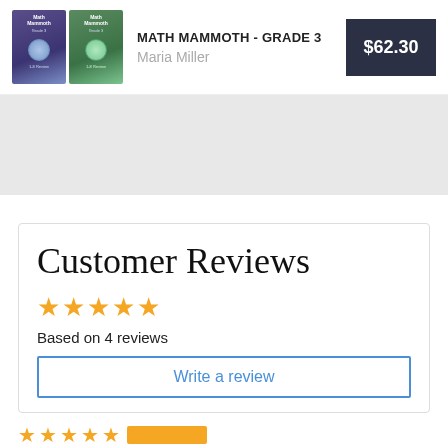[Figure (illustration): Two book covers for Math Mammoth Grade 3, one purple and one green]
MATH MAMMOTH - GRADE 3
Maria Miller
$62.30
Customer Reviews
[Figure (other): 5 orange stars rating]
Based on 4 reviews
Write a review